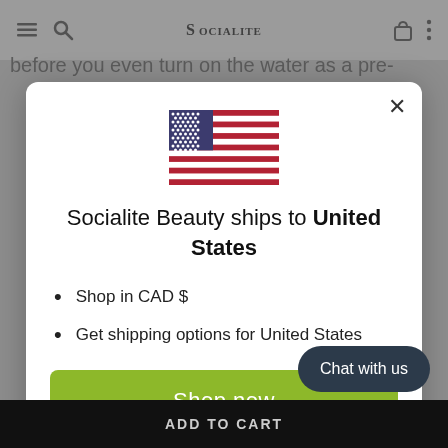SOCIALITE MODERN BEAUTY
before you even turn on the water as a pre-
[Figure (screenshot): Modal dialog popup on Socialite Beauty website showing US flag, shipping information to United States, bullet points about CAD $ and shipping options, a green Shop now button, and a Change shipping country link with a Chat with us button overlay.]
Socialite Beauty ships to United States
Shop in CAD $
Get shipping options for United States
Shop now
Change shipping cou...
Chat with us
ADD TO CART